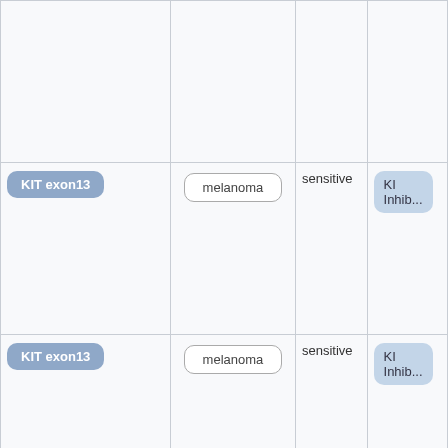| Mutation/Gene | Cancer Type | Sensitivity | Drug/Treatment |
| --- | --- | --- | --- |
|  |  |  |  |
| KIT exon13 | melanoma | sensitive | KI Inhib... |
| KIT exon13 | melanoma | sensitive | KI Inhib... |